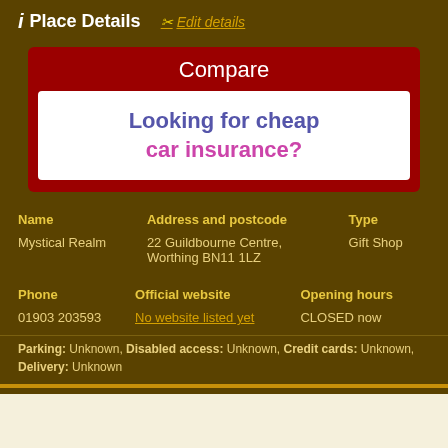i  Place Details    ✂ Edit details
[Figure (infographic): Red box with 'Compare' heading and white inner box with text 'Looking for cheap car insurance?']
| Name | Address and postcode | Type |
| --- | --- | --- |
| Mystical Realm | 22 Guildbourne Centre, Worthing BN11 1LZ | Gift Shop |
| Phone | Official website | Opening hours |
| --- | --- | --- |
| 01903 203593 | No website listed yet | CLOSED now |
Parking: Unknown, Disabled access: Unknown, Credit cards: Unknown, Delivery: Unknown